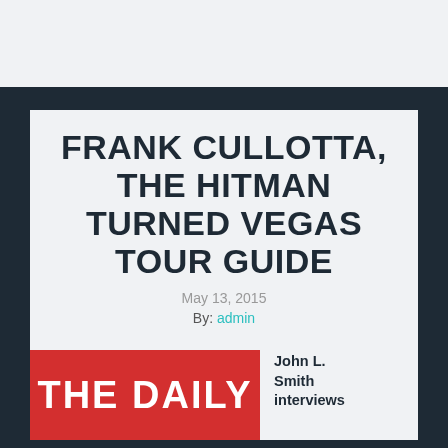FRANK CULLOTTA, THE HITMAN TURNED VEGAS TOUR GUIDE
May 13, 2015
By: admin
[Figure (photo): Red banner image showing 'THE DAILY' text in white bold letters on a red background]
John L. Smith interviews